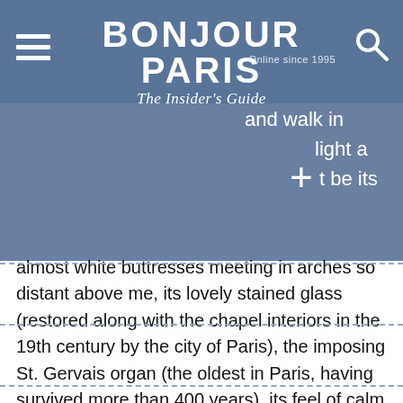BONJOUR PARIS — The Insider's Guide — Online since 1995
and walk in light a t be its almost white buttresses meeting in arches so distant above me, its lovely stained glass (restored along with the chapel interiors in the 19th century by the city of Paris), the imposing St. Gervais organ (the oldest in Paris, having survived more than 400 years), its feel of calm and antiquity, its location on a quiet park-like plaza in the Marais, or its almost total lack of tourists?
[Figure (photo): Interior of a Gothic church showing ribbed vaulting arches in white stone meeting overhead, with colorful stained glass windows visible on the right]